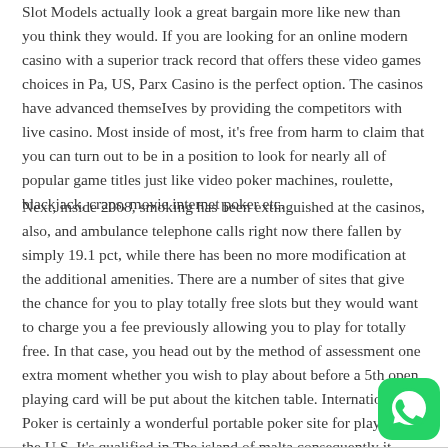Slot Models actually look a great bargain more like new than you think they would. If you are looking for an online modern casino with a superior track record that offers these video games choices in Pa, US, Parx Casino is the perfect option. The casinos have advanced themselves by providing the competitors with live casino. Most inside of most, it's free from harm to claim that you can turn out to be in a position to look for nearly all of popular game titles just like video poker machines, roulette, blackjack, craps, movie internet poker etc.
Next, inside 2008, smoking has been extinguished at the casinos, also, and ambulance telephone calls right now there fallen by simply 19.1 pct, while there has been no more modification at the additional amenities. There are a number of sites that give the chance for you to play totally free slots but they would want to charge you a fee previously allowing you to play for totally free. In that case, you head out by the method of assessment one extra moment whether you wish to play about before a 5th open playing card will be put about the kitchen table. International Poker is certainly a wonderful portable poker site for players on the U.S. It's qualified in The island of malta consequently it provides robust regulatory support and believability.